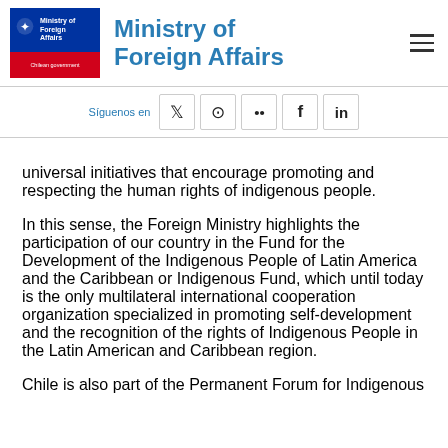Ministry of Foreign Affairs
Síguenos en
universal initiatives that encourage promoting and respecting the human rights of indigenous people.
In this sense, the Foreign Ministry highlights the participation of our country in the Fund for the Development of the Indigenous People of Latin America and the Caribbean or Indigenous Fund, which until today is the only multilateral international cooperation organization specialized in promoting self-development and the recognition of the rights of Indigenous People in the Latin American and Caribbean region.
Chile is also part of the Permanent Forum for Indigenous